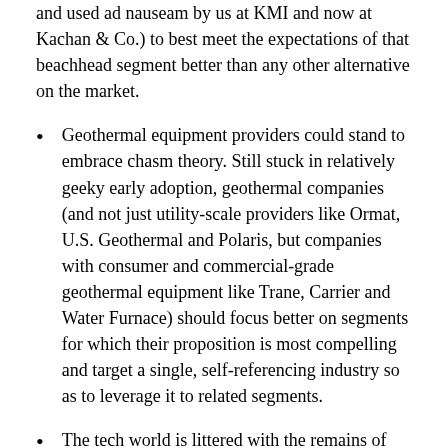and used ad nauseam by us at KMI and now at Kachan & Co.) to best meet the expectations of that beachhead segment better than any other alternative on the market.
Geothermal equipment providers could stand to embrace chasm theory. Still stuck in relatively geeky early adoption, geothermal companies (and not just utility-scale providers like Ormat, U.S. Geothermal and Polaris, but companies with consumer and commercial-grade geothermal equipment like Trane, Carrier and Water Furnace) should focus better on segments for which their proposition is most compelling and target a single, self-referencing industry so as to leverage it to related segments.
The tech world is littered with the remains of mobile and stationary fuel cell companies that failed to achieve meaningful commercial traction in any specific segment. Even customers of Bloom Energy, perhaps the highest profile of the lot today, are all over the map: FedEx, Wal-Mart, Staples, Google and eBay. Interestingly, in fuel cells' quest for widespread market adoption, at least one company now claims to have a volume deal with one of the top battery makers in the world (see description of Tekion